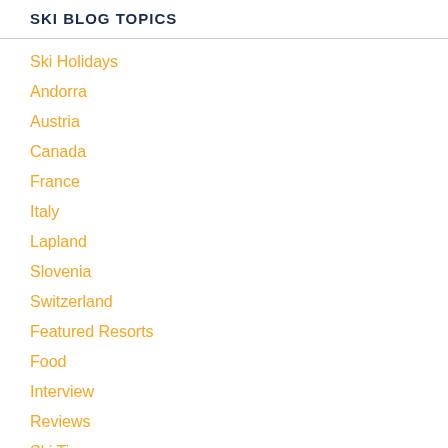SKI BLOG TOPICS
Ski Holidays
Andorra
Austria
Canada
France
Italy
Lapland
Slovenia
Switzerland
Featured Resorts
Food
Interview
Reviews
Ski Tips